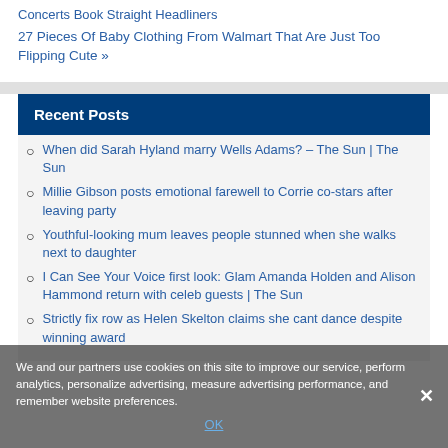Concerts Book Straight Headliners
27 Pieces Of Baby Clothing From Walmart That Are Just Too Flipping Cute »
Recent Posts
When did Sarah Hyland marry Wells Adams? – The Sun | The Sun
Millie Gibson posts emotional farewell to Corrie co-stars after leaving party
Youthful-looking mum leaves people stunned when she walks next to daughter
I Can See Your Voice first look: Glam Amanda Holden and Alison Hammond return with celeb guests | The Sun
Strictly fix row as Helen Skelton claims she cant dance despite winning award
We and our partners use cookies on this site to improve our service, perform analytics, personalize advertising, measure advertising performance, and remember website preferences.